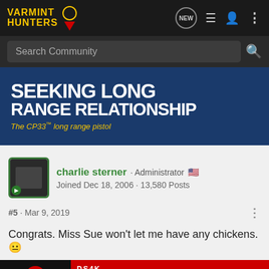Varmint Hunters · Search Community
[Figure (photo): Advertisement banner: SEEKING LONG RANGE RELATIONSHIP - The CP33™ long range pistol, on blue background]
charlie sterner · Administrator 🇺🇸
Joined Dec 18, 2006 · 13,580 Posts
#5 · Mar 9, 2019
Congrats. Miss Sue won't let me have any chickens. 😐
[Figure (photo): Advertisement: Stealth Cam DS4K TRANSMIT CELLULAR TRAIL CAMERA on red background]